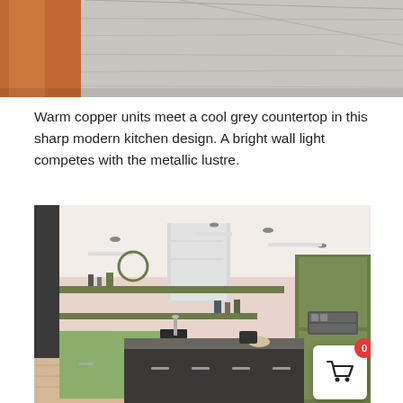[Figure (photo): Close-up partial view of copper kitchen units with grey countertop and wooden surface, cropped at top of page.]
Warm copper units meet a cool grey countertop in this sharp modern kitchen design. A bright wall light competes with the metallic lustre.
[Figure (photo): Modern kitchen with sage green flat-front cabinetry, open shelving, pink walls, large island with dark grey worktop, stainless steel ceiling extractor, and built-in oven tower. Shopping cart button with badge '0' overlaid at bottom right.]